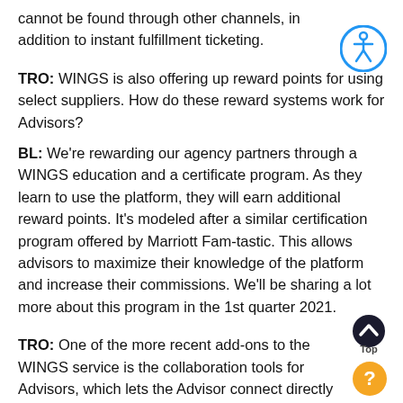cannot be found through other channels, in addition to instant fulfillment ticketing.
[Figure (illustration): Accessibility icon — blue circle with white wheelchair user symbol]
TRO: WINGS is also offering up reward points for using select suppliers. How do these reward systems work for Advisors?
BL: We're rewarding our agency partners through a WINGS education and a certificate program. As they learn to use the platform, they will earn additional reward points. It's modeled after a similar certification program offered by Marriott Fam-tastic. This allows advisors to maximize their knowledge of the platform and increase their commissions. We'll be sharing a lot more about this program in the 1st quarter 2021.
TRO: One of the more recent add-ons to the WINGS service is the collaboration tools for Advisors, which lets the Advisor connect directly to the client. This is a game-changer in the time of COVID-19. Are these collaboration tools easy to use, and how does the
[Figure (illustration): Back to top button — dark circle with upward chevron above 'Top' label]
[Figure (illustration): Help icon — orange circle with white question mark]